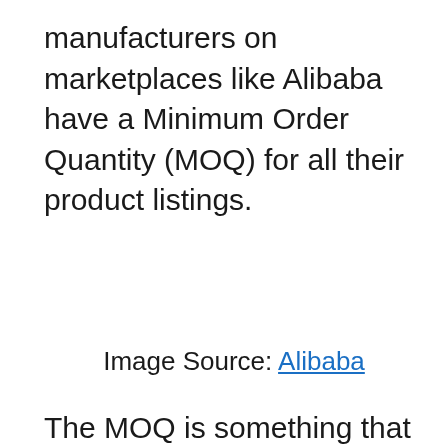manufacturers on marketplaces like Alibaba have a Minimum Order Quantity (MOQ) for all their product listings.
Image Source: Alibaba
The MOQ is something that can affect the